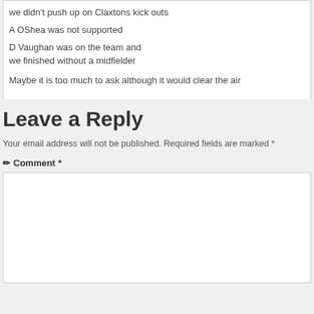we didn't push up on Claxtons kick outs
A OShea was not supported
D Vaughan was on the team and we finished without a midfielder

Maybe it is too much to ask although it would clear the air
Leave a Reply
Your email address will not be published. Required fields are marked *
✏ Comment *